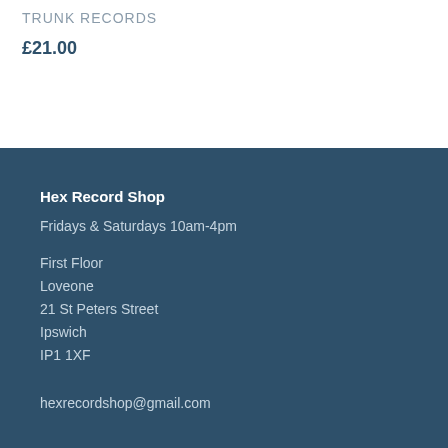TRUNK RECORDS
£21.00
Hex Record Shop
Fridays & Saturdays 10am-4pm
First Floor
Loveone
21 St Peters Street
Ipswich
IP1 1XF
hexrecordshop@gmail.com